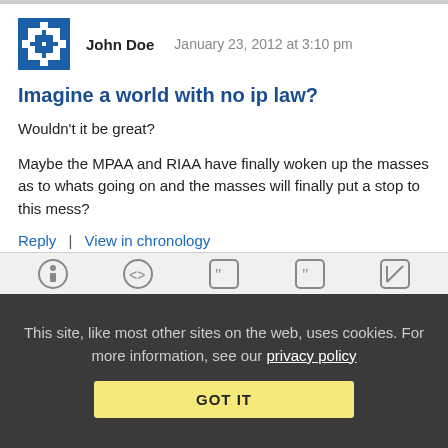John Doe   January 23, 2012 at 3:10 pm
Imagine a world with no ip law?
Wouldn't it be great?
Maybe the MPAA and RIAA have finally woken up the masses as to whats going on and the masses will finally put a stop to this mess?
Reply | View in chronology
This site, like most other sites on the web, uses cookies. For more information, see our privacy policy
GOT IT